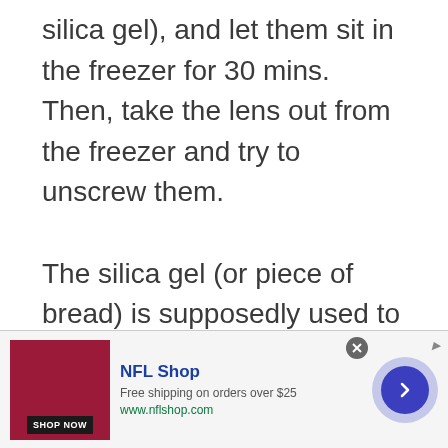silica gel), and let them sit in the freezer for 30 mins. Then, take the lens out from the freezer and try to unscrew them.

The silica gel (or piece of bread) is supposedly used to absorb moisture to prevent a wet lens, and the sudden change from cold to warm will supposedly help to release the filter with contraction/expansion... Supposedly. Well, this method did not work for me, but I do see...
[Figure (other): NFL Shop advertisement banner with shop now button, free shipping offer, website URL, and navigation arrow]